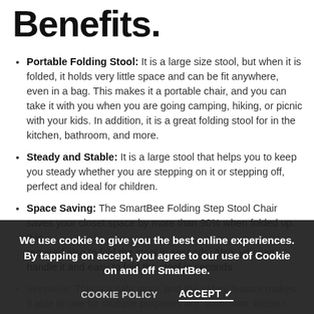Benefits.
Portable Folding Stool: It is a large size stool, but when it is folded, it holds very little space and can be fit anywhere, even in a bag. This makes it a portable chair, and you can take it with you when you are going camping, hiking, or picnic with your kids. In addition, it is a great folding stool for in the kitchen, bathroom, and more.
Steady and Stable: It is a large stool that helps you to keep you steady whether you are stepping on it or stepping off, perfect and ideal for children.
Space Saving: The SmartBee Folding Step Stool Chair saves your closet space by more than 90% when folded up. It is required also to fold the stool in seconds. Also, you can handle it and easy to fold the stool in seconds.
Versatile: This is a safe stool, and the safety feature makes it able to use for multiple purposes like: bathroom, kitchen, bedroom, office, picnic, beach, fishing, camping, etc.
Rounded Details: The SmartBee Folding Step Stool Chair
We use cookie to give you the best online experiences. By tapping on accept, you agree to our use of Cookie on and off SmartBee.